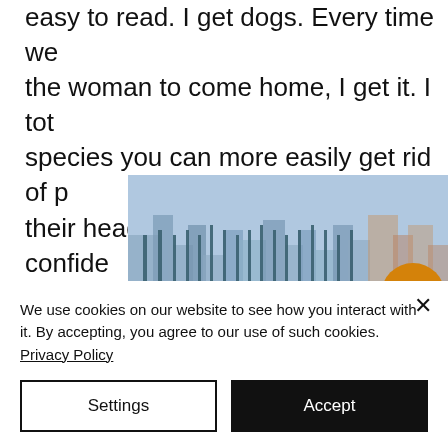easy to read. I get dogs. Every time we the woman to come home, I get it. I tot species you can more easily get rid of p their heads, they don't have any confide whatever they're feeling is what they'll a
[Figure (photo): Photo of a bridge (appears to be Manhattan Bridge or similar) with city skyline in background, and a person with orange/yellow hair visible at the right edge.]
We use cookies on our website to see how you interact with it. By accepting, you agree to our use of such cookies. Privacy Policy